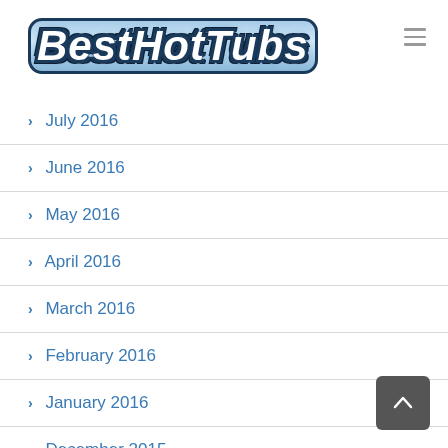[Figure (logo): BestHotTubs logo with stylized text in blue/white with dark border]
> July 2016
> June 2016
> May 2016
> April 2016
> March 2016
> February 2016
> January 2016
> December 2015